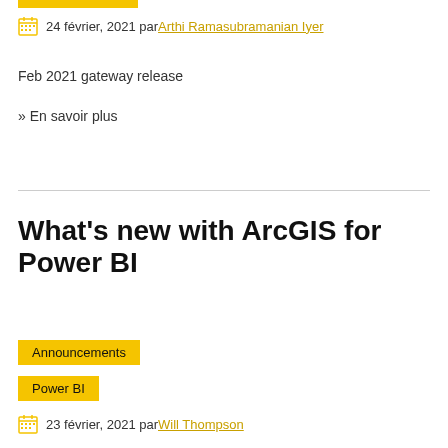24 février, 2021 par Arthi Ramasubramanian Iyer
Feb 2021 gateway release
» En savoir plus
What's new with ArcGIS for Power BI
Announcements
Power BI
23 février, 2021 par Will Thompson